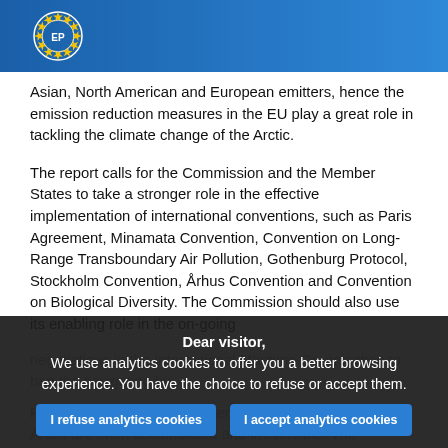European Parliament header with logo
Asian, North American and European emitters, hence the emission reduction measures in the EU play a great role in tackling the climate change of the Arctic.
The report calls for the Commission and the Member States to take a stronger role in the effective implementation of international conventions, such as Paris Agreement, Minamata Convention, Convention on Long-Range Transboundary Air Pollution, Gothenburg Protocol, Stockholm Convention, Århus Convention and Convention on Biological Diversity. The Commission should also use its enabling role in the on-going negotiations in the International Maritime Organisation to ban the navigating bu[...]
Ru[...] [...] necessary. In addition, environmental impacts on the Arctic are often accumulated and irreversible. The assessment [...]
Dear visitor, We use analytics cookies to offer you a better browsing experience. You have the choice to refuse or accept them.
I refuse analytics cookies
I accept analytics cookies
For any information on the other cookies and server logs we use, we invite you to read our data protection policy , our cookies policy and our cookies inventory.